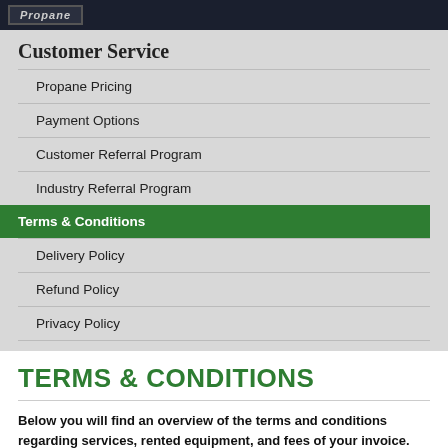Propane
Customer Service
Propane Pricing
Payment Options
Customer Referral Program
Industry Referral Program
Terms & Conditions
Delivery Policy
Refund Policy
Privacy Policy
TERMS & CONDITIONS
Below you will find an overview of the terms and conditions regarding services, rented equipment, and fees of your invoice. Please refer to your rental agreement for exact details of the